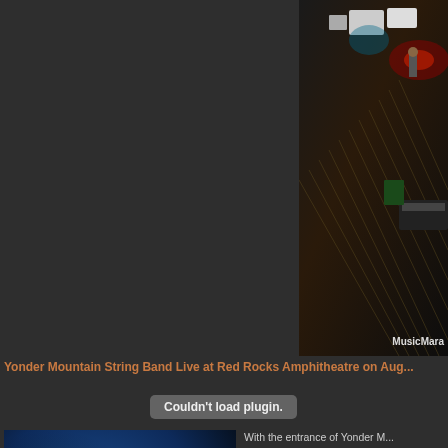[Figure (photo): Aerial/overhead view of a band performing on stage at Red Rocks Amphitheatre with stage equipment visible, with watermark 'MusicMara' in bottom right corner]
Yonder Mountain String Band Live at Red Rocks Amphitheatre on Aug...
Couldn't load plugin.
[Figure (photo): Close-up photo of a male musician on stage, lit by stage lights against a blue background, wearing a dark shirt]
With the entrance of Yonder M... crowd! I was excited to see w... table. The set started a lot sl... would. They started with a so... Brings", an odd choice for a R... thing that was clear to me rig... level of musicianship was sig... the evening's openers.